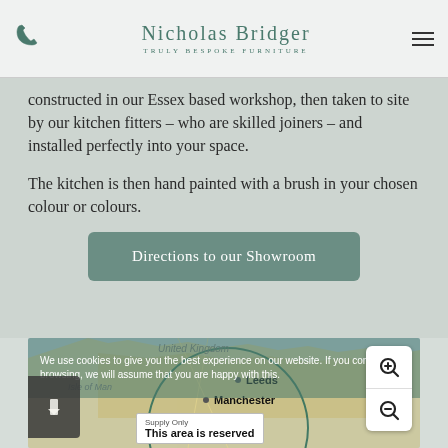Nicholas Bridger — Truly Bespoke Furniture
constructed in our Essex based workshop, then taken to site by our kitchen fitters – who are skilled joiners – and installed perfectly into your space.
The kitchen is then hand painted with a brush in your chosen colour or colours.
Directions to our Showroom
[Figure (map): Interactive map of United Kingdom showing locations of Leeds and Manchester with a supply area circle overlay. Zoom controls on the right. A popup reads 'Supply Only — This area is reserved'. Cookie consent overlay visible.]